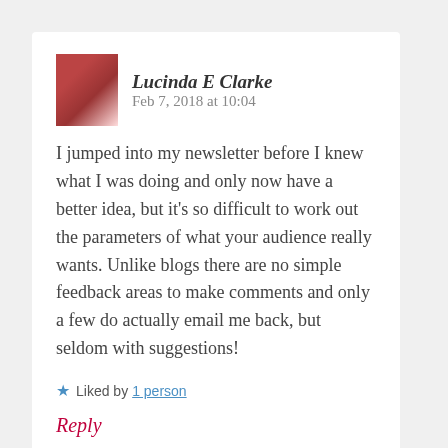Lucinda E Clarke   Feb 7, 2018 at 10:04
I jumped into my newsletter before I knew what I was doing and only now have a better idea, but it's so difficult to work out the parameters of what your audience really wants. Unlike blogs there are no simple feedback areas to make comments and only a few do actually email me back, but seldom with suggestions!
★ Liked by 1 person
Reply